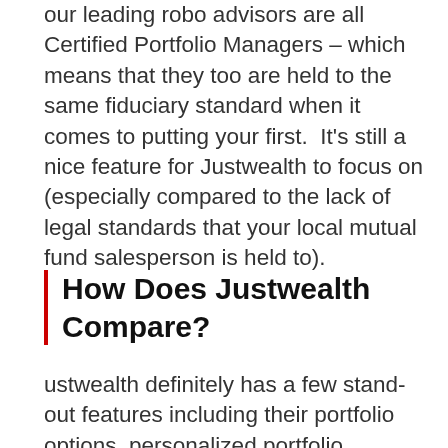our leading robo advisors are all Certified Portfolio Managers – which means that they too are held to the same fiduciary standard when it comes to putting your first.  It's still a nice feature for Justwealth to focus on (especially compared to the lack of legal standards that your local mutual fund salesperson is held to).
How Does Justwealth Compare?
ustwealth definitely has a few stand-out features including their portfolio options, personalized portfolio managers for each client, and their